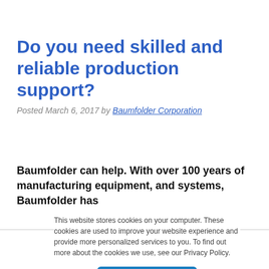Do you need skilled and reliable production support?
Posted March 6, 2017 by Baumfolder Corporation
Baumfolder can help. With over 100 years of manufacturing equipment, and systems, Baumfolder has
This website stores cookies on your computer. These cookies are used to improve your website experience and provide more personalized services to you. To find out more about the cookies we use, see our Privacy Policy.